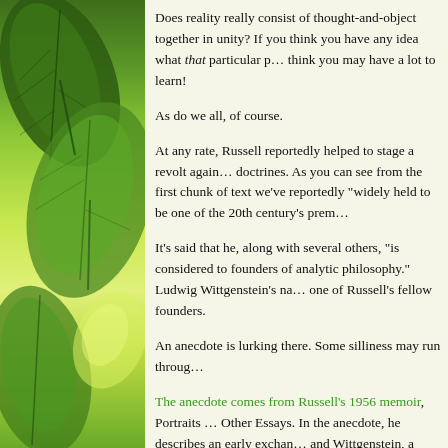Does reality really consist of thought-and-object together in unity? If you think you have any idea what that particular p… think you may have a lot to learn!
As do we all, of course.
At any rate, Russell reportedly helped to stage a revolt against doctrines. As you can see from the first chunk of text we've reportedly "widely held to be one of the 20th century's prem…
It's said that he, along with several others, "is considered to founders of analytic philosophy." Ludwig Wittgenstein's na… one of Russell's fellow founders.
An anecdote is lurking there. Some silliness may run throug…
The anecdote comes from Russell's 1956 memoir, Portraits … Other Essays. In the anecdote, he describes an early exchan… and Wittgenstein, a younger man who had come to Cambric… already famous logician.